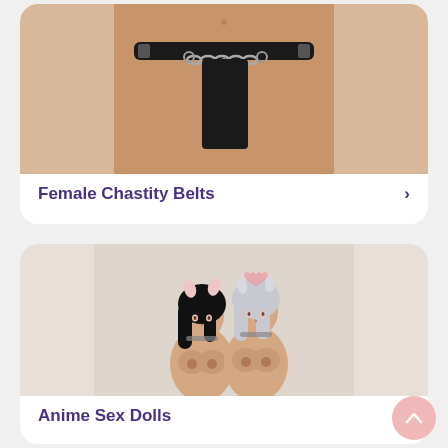[Figure (photo): Photo of a female chastity belt product — black leather belt with silver chain and padlock worn on a human torso]
Female Chastity Belts
[Figure (photo): Photo of two anime-style sex doll figures with dark and light hair, wearing animal ear accessories]
Anime Sex Dolls